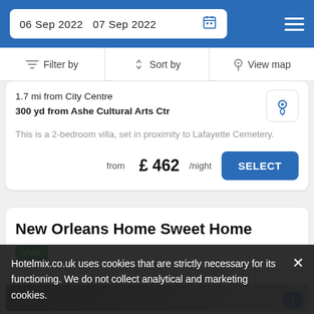06 Sep 2022  07 Sep 2022
Filter by  |  Sort by  |  View map
1.7 mi from City Centre
300 yd from Ashe Cultural Arts Ctr
This is a 2-bedroom villa, set in proximity to Lafayette Cemetery.
from £ 462/night  SELECT
New Orleans Home Sweet Home
Villa
Hotelmix.co.uk uses cookies that are strictly necessary for its functioning. We do not collect analytical and marketing cookies.